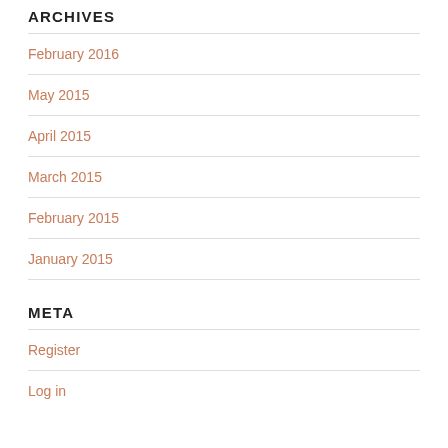ARCHIVES
February 2016
May 2015
April 2015
March 2015
February 2015
January 2015
META
Register
Log in